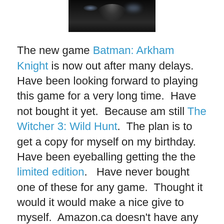[Figure (photo): Dark image of Batman Arkham Knight helmet/mask against a black background with glowing eyes or lights]
The new game Batman: Arkham Knight is now out after many delays.  Have been looking forward to playing this game for a very long time.  Have not bought it yet.  Because am still The Witcher 3: Wild Hunt.  The plan is to get a copy for myself on my birthday.  Have been eyeballing getting the the limited edition.   Have never bought one of these for any game.  Thought it would it would make a nice give to myself.  Amazon.ca doesn't have any (on June 24, 2015).  Might call round to see if any local place might have it before I pick up the standard version.
On another Batman note.  There is a Batman Arkham Knight Vol. 1 hardcover graphic novel will be out soon.  It